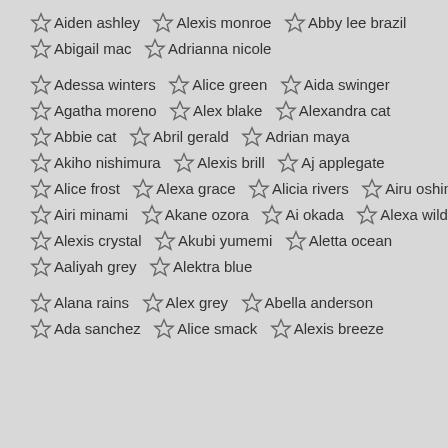Aiden ashley  Alexis monroe  Abby lee brazil
Abigail mac  Adrianna nicole
Adessa winters  Alice green  Aida swinger
Agatha moreno  Alex blake  Alexandra cat
Abbie cat  Abril gerald  Adrian maya
Akiho nishimura  Alexis brill  Aj applegate
Alice frost  Alexa grace  Alicia rivers  Airu oshima
Airi minami  Akane ozora  Ai okada  Alexa wild
Alexis crystal  Akubi yumemi  Aletta ocean
Aaliyah grey  Alektra blue
Alana rains  Alex grey  Abella anderson
Ada sanchez  Alice smack  Alexis breeze